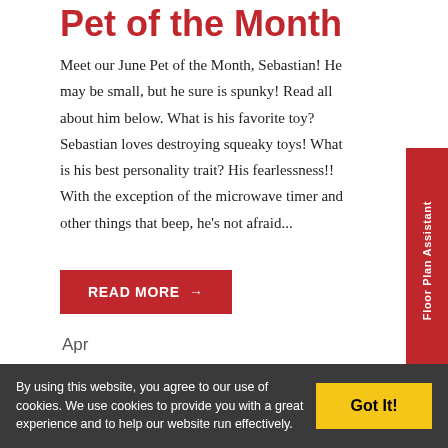Pet of the Month
Meet our June Pet of the Month, Sebastian! He may be small, but he sure is spunky! Read all about him below. What is his favorite toy? Sebastian loves destroying squeaky toys! What is his best personality trait? His fearlessness!! With the exception of the microwave timer and other things that beep, he's not afraid...
READ MORE →
Floor Plan Assistant
Apr
04
By using this website, you agree to our use of cookies. We use cookies to provide you with a great experience and to help our website run effectively.
Got It!